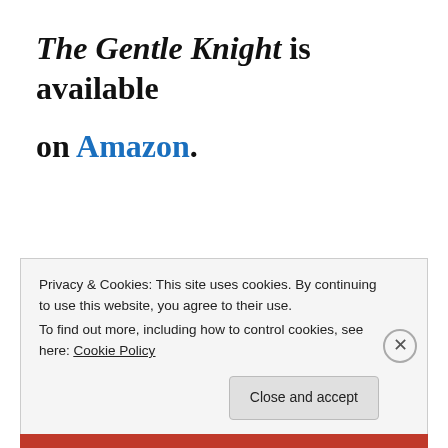The Gentle Knight is available on Amazon.
Next week I'll be hosting Mary Morgan's Dragon Knight's Shield.
Privacy & Cookies: This site uses cookies. By continuing to use this website, you agree to their use.
To find out more, including how to control cookies, see here: Cookie Policy
Close and accept